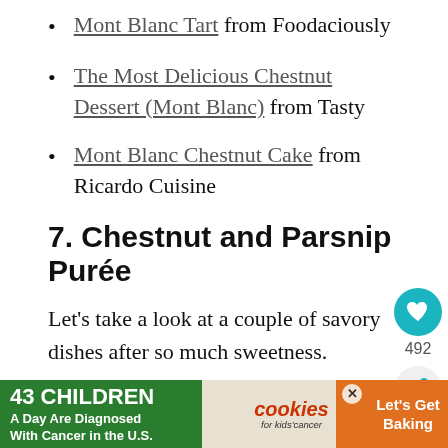Mont Blanc Tart from Foodaciously
The Most Delicious Chestnut Dessert (Mont Blanc) from Tasty
Mont Blanc Chestnut Cake from Ricardo Cuisine
7. Chestnut and Parsnip Purée
Let's take a look at a couple of savory dishes after so much sweetness.
If you are up for a culinary challenge, this
[Figure (infographic): Advertisement banner: 43 Children A Day Are Diagnosed With Cancer in the U.S. / cookies for kids' cancer / Let's Get Baking]